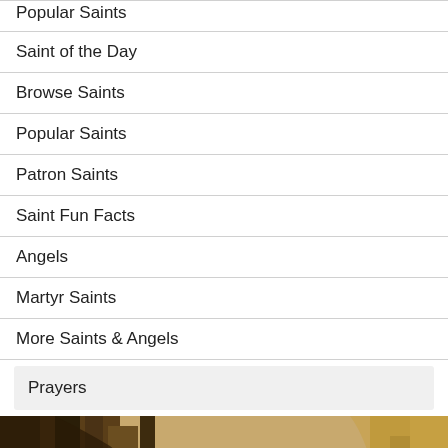Popular Saints (partial, top cut off)
Saint of the Day
Browse Saints
Popular Saints
Patron Saints
Saint Fun Facts
Angels
Martyr Saints
More Saints & Angels
Prayers
[Figure (illustration): Painting of a woman with long hair, head bowed downward, with warm golden-brown tones, religious art style depicting a saint or Mary Magdalene figure]